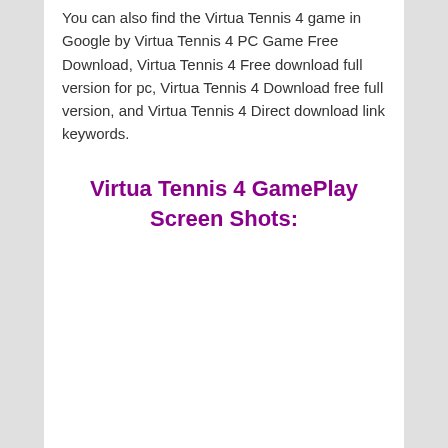You can also find the Virtua Tennis 4 game in Google by Virtua Tennis 4 PC Game Free Download, Virtua Tennis 4 Free download full version for pc, Virtua Tennis 4 Download free full version, and Virtua Tennis 4 Direct download link keywords.
Virtua Tennis 4 GamePlay Screen Shots: